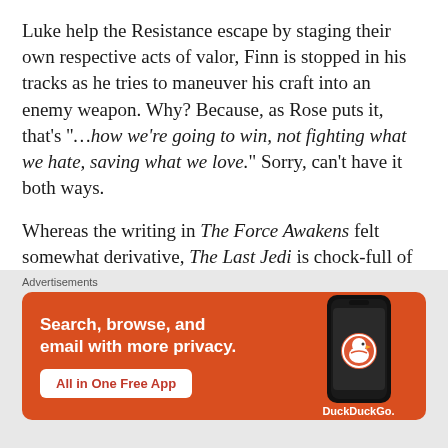Luke help the Resistance escape by staging their own respective acts of valor, Finn is stopped in his tracks as he tries to maneuver his craft into an enemy weapon. Why? Because, as Rose puts it, that's "…how we're going to win, not fighting what we hate, saving what we love." Sorry, can't have it both ways.
Whereas the writing in The Force Awakens felt somewhat derivative, The Last Jedi is chock-full of ideas… too many, in fact. Still, kudos in trying to forge something new
Advertisements
[Figure (infographic): DuckDuckGo advertisement banner with orange background. Text reads: Search, browse, and email with more privacy. All in One Free App. Shows a smartphone with DuckDuckGo logo and branding.]